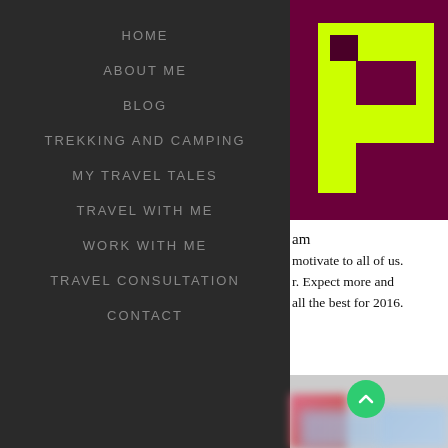HOME
ABOUT ME
BLOG
TREKKING AND CAMPING
MY TRAVEL TALES
TRAVEL WITH ME
WORK WITH ME
TRAVEL CONSULTATION
CONTACT
[Figure (logo): Yellow/lime colored letter P logo on dark purple/maroon background]
am
motivate to all of us.
r. Expect more and
all the best for 2016.
[Figure (photo): Blurred colorful image with red, blue, and light blue sections visible at bottom right]